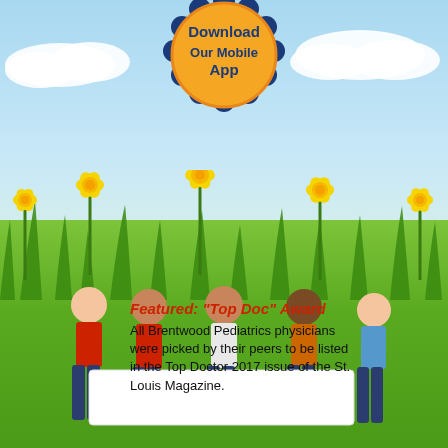[Figure (illustration): Colorful pediatric clinic promotional page with illustrated spring background (blue sky, white clouds, green grass, yellow daffodil flowers), a 'Download Our Mobile App' badge at top center, and a photo of five diverse children holding a white banner. Text overlay reads 'Featured: Top Doc Award' and describes Brentwood Pediatrics physicians being listed in Top Doctor 2017 issue of St. Louis Magazine.]
Download Our Mobile App
Featured: "Top Doc" Award
All Brentwood Pediatrics physicians were picked by their peers to be listed in the Top Doctor 2017 issue of the St. Louis Magazine.